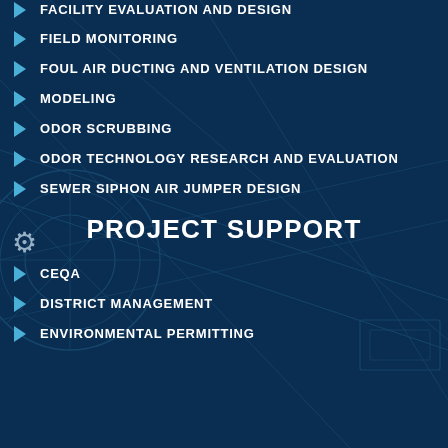FACILITY EVALUATION AND DESIGN
FIELD MONITORING
FOUL AIR DUCTING AND VENTILATION DESIGN
MODELING
ODOR SCRUBBING
ODOR TECHNOLOGY RESEARCH AND EVALUATION
SEWER SIPHON AIR JUMPER DESIGN
PROJECT SUPPORT
CEQA
DISTRICT MANAGEMENT
ENVIRONMENTAL PERMITTING